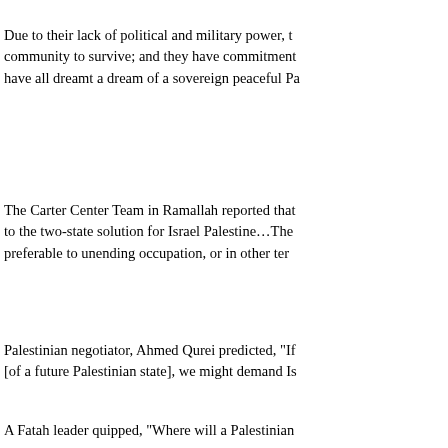Due to their lack of political and military power, the Palestinian community to survive; and they have commitments… have all dreamt a dream of a sovereign peaceful Pa…
The Carter Center Team in Ramallah reported that… to the two-state solution for Israel Palestine…The… preferable to unending occupation, or in other ter…
Palestinian negotiator, Ahmed Qurei predicted, "If… [of a future Palestinian state], we might demand Is…
A Fatah leader quipped, "Where will a Palestinian…
After the Feb. 1009, Israeli elections, Mid East Am… immoral, and now impossible, two-state solution t… than ever. Only by rejecting all forms of racism, a… colonialism, and by embracing FULL equality and… create a just and sustainable peace. The call for a t… legitimize continued occupation, colonization and…
In November 2007, Prime Minister Olmert admitte… Israel to "face a South African style struggle for eq… finished."
In a UN report, Haaretz columnist Danny Rubinst… Palestinian groups: those in Gaza, East Jerusalem,…